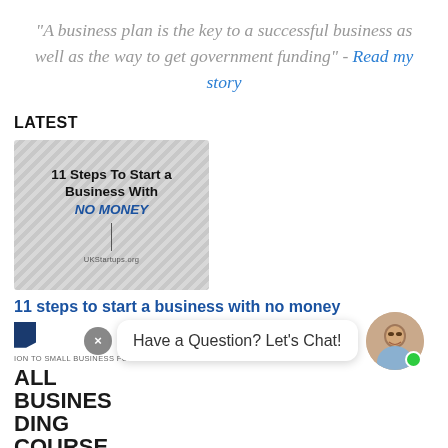"A business plan is the key to a successful business as well as the way to get government funding" - Read my story
LATEST
[Figure (illustration): Article thumbnail image for '11 Steps To Start a Business With NO MONEY' from UKStartups.org, showing diagonal striped background with the article title text and a vertical divider line]
11 steps to start a business with no money
[Figure (screenshot): Bottom partial article card with a dark navy chevron/bookmark icon, small label 'ION TO SMALL BUSINESS FUNDING', and large bold heading 'ALL BUSINESS' and 'DING COURSE'. Overlaid chat widget showing 'Have a Question? Let's Chat!' bubble with a close button (x), and an avatar photo of a man with a green online indicator dot.]